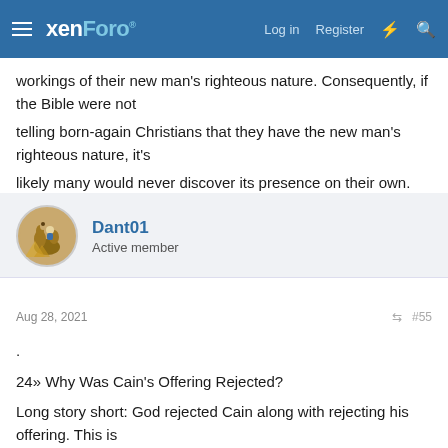xenForo — Log in  Register
workings of their new man's righteous nature. Consequently, if the Bible were not telling born-again Christians that they have the new man's righteous nature, it's likely many would never discover its presence on their own.
—
Dant01
Active member
Aug 28, 2021   #55
.
24» Why Was Cain's Offering Rejected?

Long story short: God rejected Cain along with rejecting his offering. This is
important because God still does business like that with mankind to